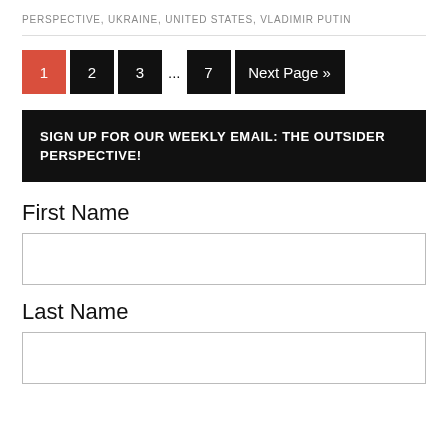PERSPECTIVE, UKRAINE, UNITED STATES, VLADIMIR PUTIN
1 2 3 ... 7 Next Page »
SIGN UP FOR OUR WEEKLY EMAIL: THE OUTSIDER PERSPECTIVE!
First Name
Last Name